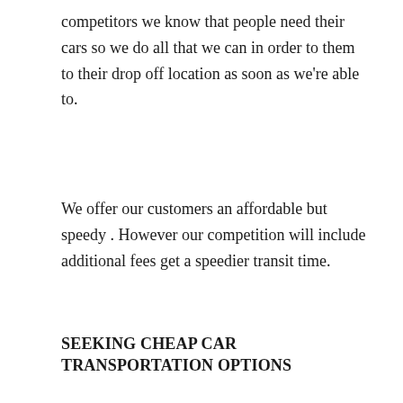competitors we know that people need their cars so we do all that we can in order to them to their drop off location as soon as we're able to.
We offer our customers an affordable but speedy . However our competition will include additional fees get a speedier transit time.
SEEKING CHEAP CAR TRANSPORTATION OPTIONS